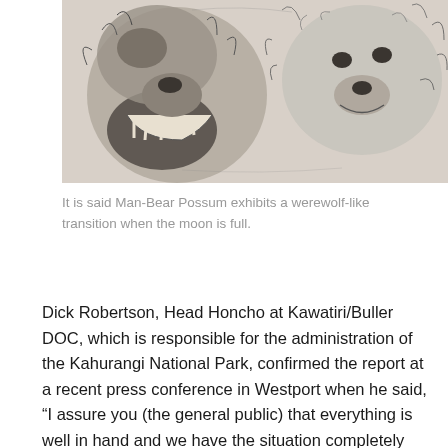[Figure (illustration): Pencil sketch illustration of animal faces (bear-like creatures) with detailed fur and expressions, suggesting a werewolf-like transformation. Black and white pencil drawing on light background.]
It is said Man-Bear Possum exhibits a werewolf-like transition when the moon is full.
Dick Robertson, Head Honcho at Kawatiri/Buller DOC, which is responsible for the administration of the Kahurangi National Park, confirmed the report at a recent press conference in Westport when he said, “I assure you (the general public) that everything is well in hand and we have the situation completely under control, there is no need for panic.” “We have a plan to eradicate Man-Bear Possum forever,” he added. “We must ensure that Man-Bear Possums are eliminated with extreme force and